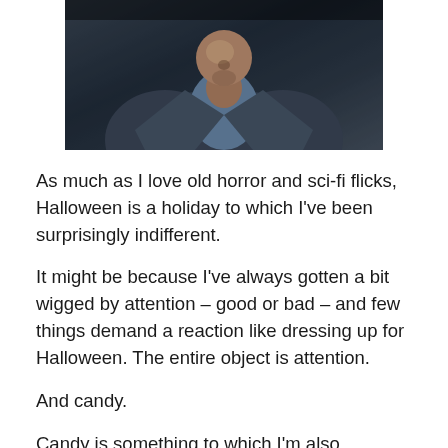[Figure (photo): Close-up photograph of a man in a blue/grey suit with a blue shirt, viewed from chin down to chest, dark background]
As much as I love old horror and sci-fi flicks, Halloween is a holiday to which I've been surprisingly indifferent.
It might be because I've always gotten a bit wigged by attention – good or bad – and few things demand a reaction like dressing up for Halloween. The entire object is attention.
And candy.
Candy is something to which I'm also surprisingly indiff...